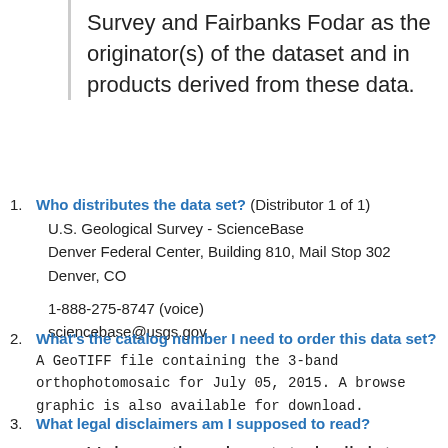Survey and Fairbanks Fodar as the originator(s) of the dataset and in products derived from these data.
1. Who distributes the data set? (Distributor 1 of 1)
U.S. Geological Survey - ScienceBase
Denver Federal Center, Building 810, Mail Stop 302
Denver, CO

1-888-275-8747 (voice)
sciencebase@usgs.gov
2. What's the catalog number I need to order this data set?
A GeoTIFF file containing the 3-band orthophotomosaic for July 05, 2015. A browse graphic is also available for download.
3. What legal disclaimers am I supposed to read?
Unless otherwise stated, all data,